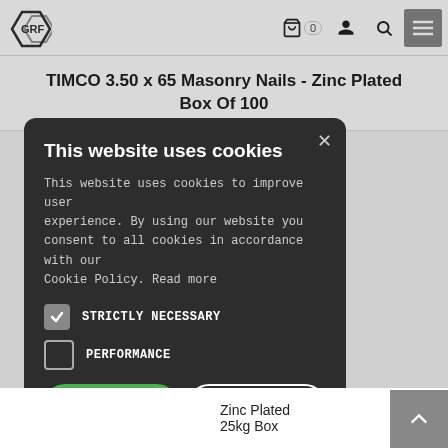GRF [logo] | cart 0 | account | search | menu
TIMCO 3.50 x 65 Masonry Nails - Zinc Plated Box Of 100
[Figure (screenshot): Cookie consent modal dialog on dark rounded rectangle background. Contains title 'This website uses cookies', body text, two checkboxes (STRICTLY NECESSARY checked, PERFORMANCE unchecked), ACCEPT ALL green button, DECLINE ALL outlined button, and SHOW DETAILS link with gear icon.]
Zinc Plated
25kg Box